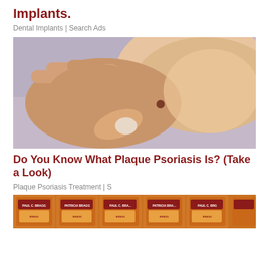Implants.
Dental Implants | Search Ads
[Figure (photo): Close-up photo of a hand scratching or touching a mole on skin, against a light purple/lavender background]
Do You Know What Plaque Psoriasis Is? (Take a Look)
Plaque Psoriasis Treatment | S
[Figure (photo): Row of Bragg brand apple cider vinegar bottles with orange/brown labels, partially visible at bottom of page]